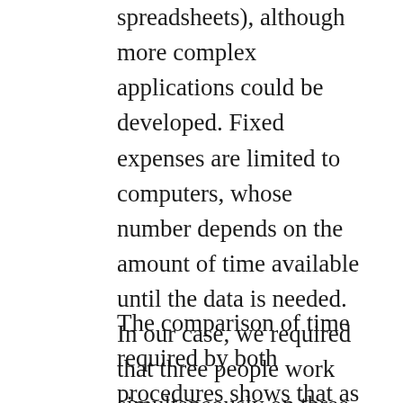spreadsheets), although more complex applications could be developed. Fixed expenses are limited to computers, whose number depends on the amount of time available until the data is needed. In our case, we required that three people work simultaneously on three computers to encode the entire survey in 12 weeks. These limited development costs and fixed expenses only slightly increase the costs of this encoding process.
The comparison of time required by both procedures shows that as long as we do not include fixed expenses, FP is more cost-effective. Moreover, the capitalization of